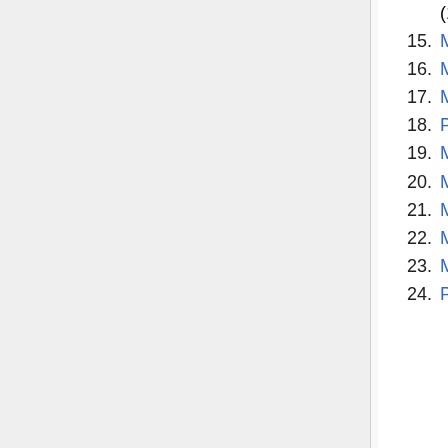(11:52, 3 February 2017)
15. Meeting 014 (12:43, 14 March 2017)
16. Meeting 015 (07:00, 3 May 2017)
17. Meeting 017 (15:54, 8 August 2017)
18. Plan of action for 2017 (12:21, 11 January 2018)
19. Meeting 018 (04:18, 13 April 2018)
20. Meeting 019 (08:32, 13 April 2018)
21. Meeting 020 (05:43, 30 May 2018)
22. Meeting 021 (05:46, 19 June 2018)
23. Meeting 022 (05:42, 7 August 2018)
24. Plan of action for 2018 (13:45, 28